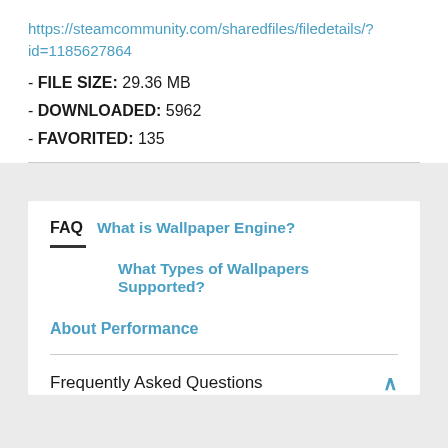https://steamcommunity.com/sharedfiles/filedetails/?id=1185627864
- FILE SIZE: 29.36 MB
- DOWNLOADED: 5962
- FAVORITED: 135
FAQ  What is Wallpaper Engine?
What Types of Wallpapers Supported?
About Performance
Frequently Asked Questions